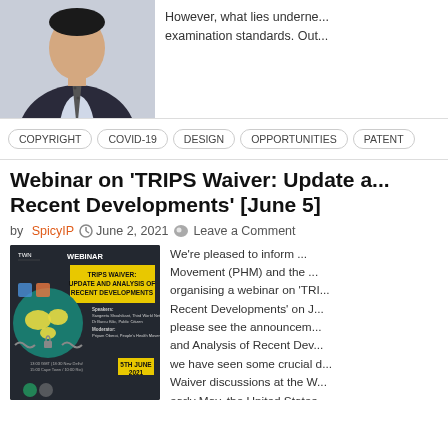[Figure (photo): Portrait photo of a man in a suit and tie]
However, what lies underne... examination standards. Out...
COPYRIGHT
COVID-19
DESIGN
OPPORTUNITIES
PATENT
Webinar on ‘TRIPS Waiver: Update a... Recent Developments’ [June 5]
by SpicyIP  June 2, 2021  Leave a Comment
[Figure (infographic): Webinar announcement flyer for TRIPS Waiver: Update and Analysis of Recent Developments, 5th June 2021]
We’re pleased to inform ... Movement (PHM) and the ... organising a webinar on ‘TRI... Recent Developments’ on J... please see the announcem... and Analysis of Recent Dev... we have seen some crucial d... Waiver discussions at the W... early May, the United States